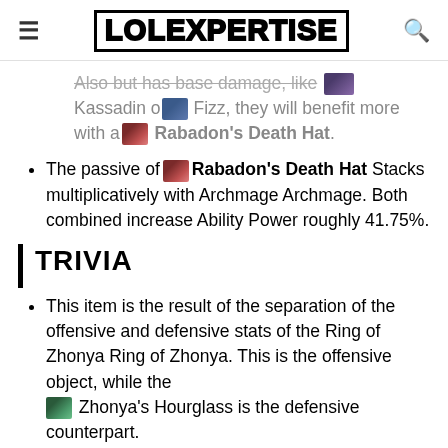≡ LOLEXPERTISE 🔍
Also but has base damage, like Kassadin or Fizz, they will benefit more with a Rabadon's Death Hat.
The passive of Rabadon's Death Hat Stacks multiplicatively with Archmage Archmage. Both combined increase Ability Power roughly 41.75%.
TRIVIA
This item is the result of the separation of the offensive and defensive stats of the Ring of Zhonya Ring of Zhonya. This is the offensive object, while the Zhonya's Hourglass is the defensive counterpart.
It was originally called Banksy's Death Hat in the release notes trailers. This was a tribute to one of